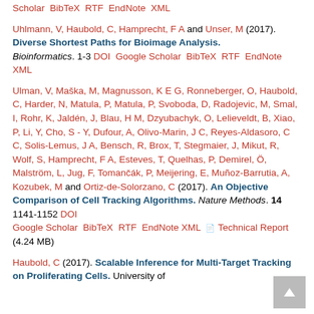Scholar BibTeX RTF EndNote XML

Uhlmann, V, Haubold, C, Hamprecht, F A and Unser, M (2017). Diverse Shortest Paths for Bioimage Analysis. Bioinformatics. 1-3 DOI Google Scholar BibTeX RTF EndNote XML

Ulman, V, Maška, M, Magnusson, K E G, Ronneberger, O, Haubold, C, Harder, N, Matula, P, Matula, P, Svoboda, D, Radojevic, M, Smal, I, Rohr, K, Jaldén, J, Blau, H M, Dzyubachyk, O, Lelieveldt, B, Xiao, P, Li, Y, Cho, S - Y, Dufour, A, Olivo-Marin, J C, Reyes-Aldasoro, C C, Solis-Lemus, J A, Bensch, R, Brox, T, Stegmaier, J, Mikut, R, Wolf, S, Hamprecht, F A, Esteves, T, Quelhas, P, Demirel, Ö, Malström, L, Jug, F, Tomančák, P, Meijering, E, Muñoz-Barrutia, A, Kozubek, M and Ortiz-de-Solorzano, C (2017). An Objective Comparison of Cell Tracking Algorithms. Nature Methods. 14 1141-1152 DOI Google Scholar BibTeX RTF EndNote XML Technical Report (4.24 MB)

Haubold, C (2017). Scalable Inference for Multi-Target Tracking on Proliferating Cells. University of